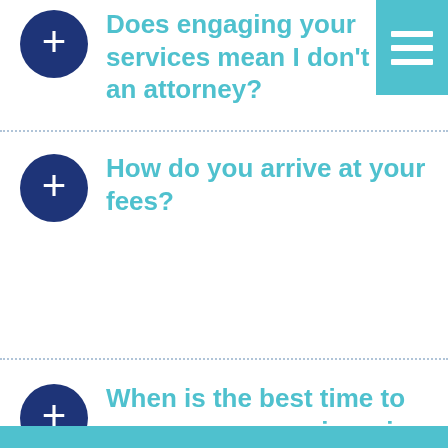[Figure (infographic): Teal menu icon with three white horizontal bars in top-right corner]
Does engaging your services mean I don't need an attorney?
How do you arrive at your fees?
When is the best time to engage your services, i.e., when contemplating divorce or after the process is underway?